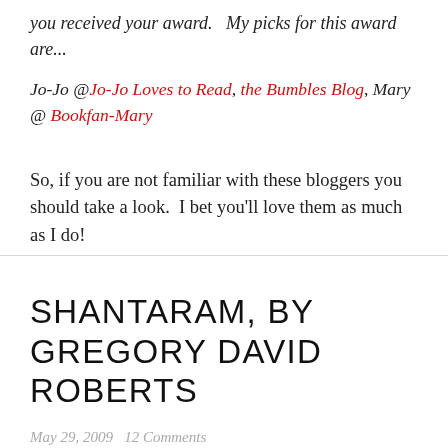you received your award.    My picks for this award are...
Jo-Jo @Jo-Jo Loves to Read, the Bumbles Blog, Mary @ Bookfan-Mary
So, if you are not familiar with these bloggers you should take a look.  I bet you'll love them as much as I do!
SHANTARAM, BY GREGORY DAVID ROBERTS
May 29, 2009    12 Comments